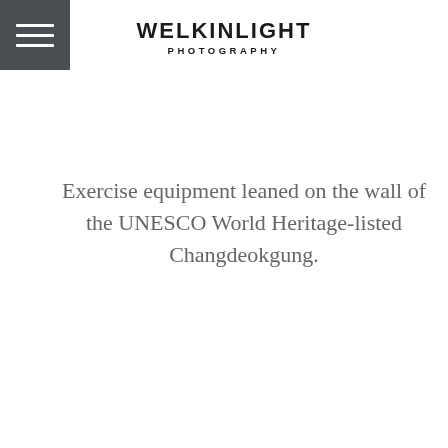[Figure (logo): Welkinlight Photography logo with hamburger menu icon on dark grey background]
WELKINLIGHT PHOTOGRAPHY
Exercise equipment leaned on the wall of the UNESCO World Heritage-listed Changdeokgung.